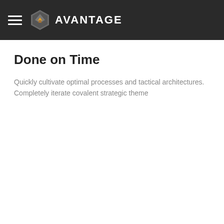AVANTAGE
Done on Time
Quickly cultivate optimal processes and tactical architectures. Completely iterate covalent strategic theme